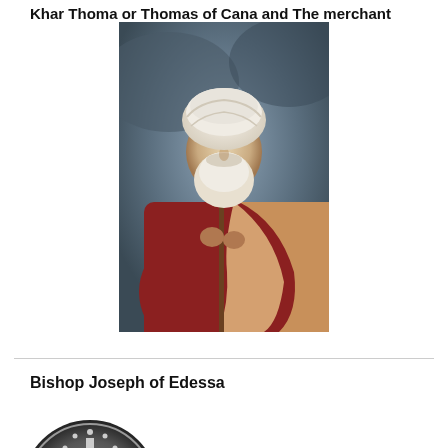Khar Thoma or Thomas of Cana and The merchant
[Figure (photo): Portrait painting of an elderly bearded man wearing white turban and red robes, holding a staff with a cross, draped in cream/orange cloth. Traditional religious figure portrait.]
Bishop Joseph of Edessa
[Figure (photo): Circular medallion or coin showing a cross symbol surrounded by stars on a dark background, partially visible at bottom of page.]